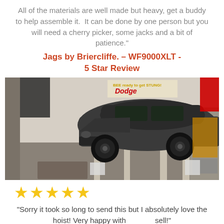All of the materials are well made but heavy, get a buddy to help assemble it.  It can be done by one person but you will need a cherry picker, some jacks and a bit of patience."
Jags by Briercliffe. – WF9000XLT - 5 Star Review
[Figure (photo): A dark matte gray Dodge Magnum or Charger wagon on a four-post vehicle lift inside a garage, surrounded by automotive flags and posters including a Dodge sign.]
★★★★★
"Sorry it took so long to send this but I absolutely love the hoist! Very happy with                sell!"